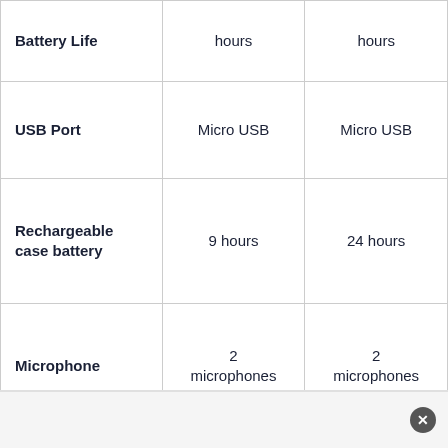| Feature | Option A | Option B |
| --- | --- | --- |
| Battery Life | hours | hours |
| USB Port | Micro USB | Micro USB |
| Rechargeable case battery | 9 hours | 24 hours |
| Microphone | 2 microphones | 2 microphones |
| Water resistance | IPX8 | IPX8 |